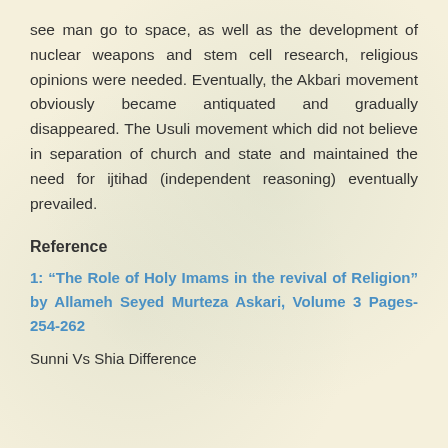see man go to space, as well as the development of nuclear weapons and stem cell research, religious opinions were needed. Eventually, the Akbari movement obviously became antiquated and gradually disappeared. The Usuli movement which did not believe in separation of church and state and maintained the need for ijtihad (independent reasoning) eventually prevailed.
Reference
1: “The Role of Holy Imams in the revival of Religion” by Allameh Seyed Murteza Askari, Volume 3 Pages-254-262
Sunni Vs Shia Difference